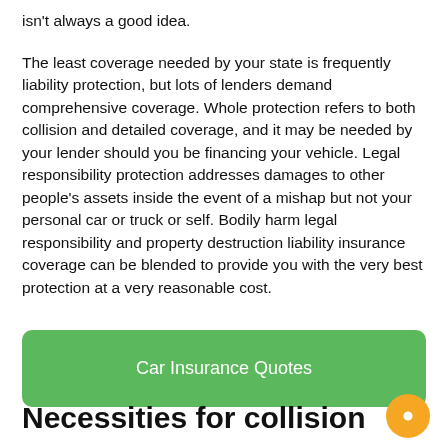isn't always a good idea.
The least coverage needed by your state is frequently liability protection, but lots of lenders demand comprehensive coverage. Whole protection refers to both collision and detailed coverage, and it may be needed by your lender should you be financing your vehicle. Legal responsibility protection addresses damages to other people's assets inside the event of a mishap but not your personal car or truck or self. Bodily harm legal responsibility and property destruction liability insurance coverage can be blended to provide you with the very best protection at a very reasonable cost.
[Figure (other): Green rounded button labeled 'Car Insurance Quotes']
Necessities for collision